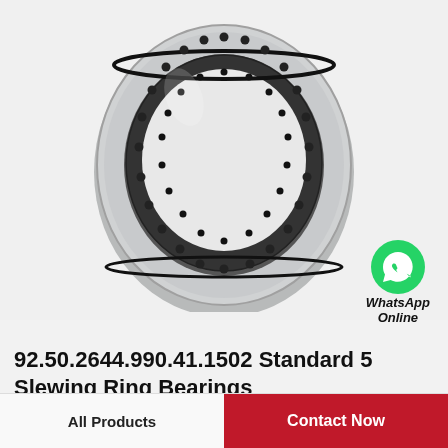[Figure (photo): Photo of a slewing ring bearing (92.50.2644.990.41.1502 Standard 5), a large annular steel ring with bolt holes, shown on a light gray background.]
92.50.2644.990.41.1502 Standard 5 Slewing Ring Bearings
[Figure (logo): WhatsApp green circle icon with phone handset symbol, with text 'WhatsApp Online' in italic bold below.]
92.50.2644.990.41.1502 Standard 5 Slewing Ring Bearings
All Products
Contact Now